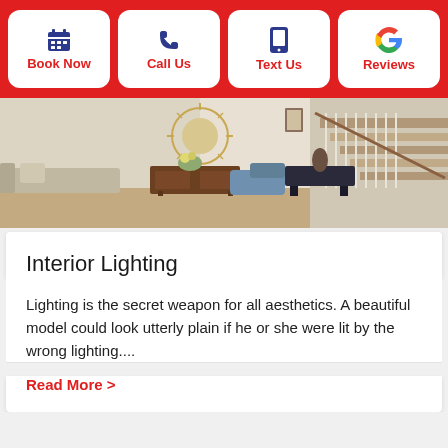[Figure (screenshot): Navigation bar with four action buttons: Book Now (calendar icon), Call Us (phone icon), Text Us (phone/text icon), Reviews (Google G icon), all on red background with white rounded cards]
[Figure (photo): Interior home photo showing a living room with a circular sunburst mirror, wooden dresser with flowers, blue accent chair, staircase with white balusters, and hardwood floors]
Interior Lighting
Lighting is the secret weapon for all aesthetics. A beautiful model could look utterly plain if he or she were lit by the wrong lighting....
Read More >